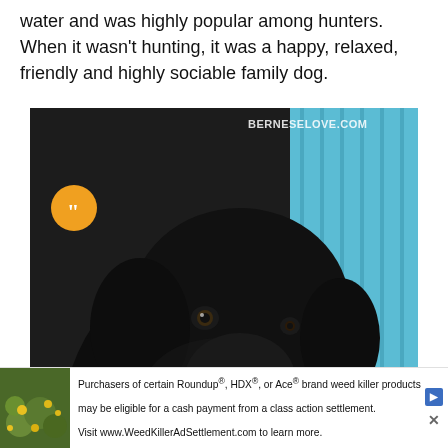water and was highly popular among hunters. When it wasn't hunting, it was a happy, relaxed, friendly and highly sociable family dog.
[Figure (photo): A large black dog (Newfoundland) lying on a wooden deck with its mouth open and tongue out, panting happily. A blue slatted wall is visible in the background. An orange quote bubble icon appears in the upper left of the image, and a BERNESELOVE.COM watermark appears in the upper right.]
Purchasers of certain Roundup®, HDX®, or Ace® brand weed killer products may be eligible for a cash payment from a class action settlement. Visit www.WeedKillerAdSettlement.com to learn more.